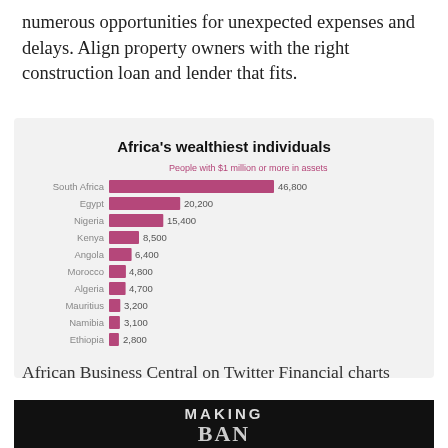numerous opportunities for unexpected expenses and delays. Align property owners with the right construction loan and lender that fits.
[Figure (bar-chart): Africa's wealthiest individuals]
African Business Central on Twitter Financial charts
[Figure (other): Making Bank banner image on dark background]